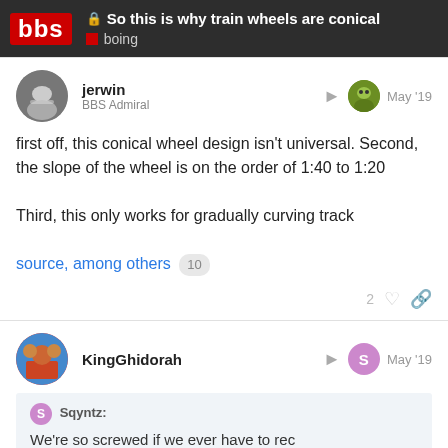🔒 So this is why train wheels are conical | boing
first off, this conical wheel design isn't universal. Second, the slope of the wheel is on the order of 1:40 to 1:20

Third, this only works for gradually curving track
source, among others 10
2
KingGhidorah May '19
Sqyntz:
We're so screwed if we ever have to rec
22 / 32